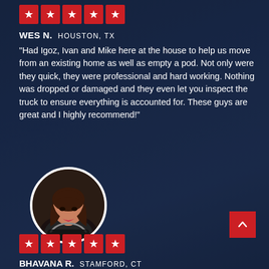[Figure (other): Five red star rating badges for Wes N. review]
WES N. HOUSTON, TX
"Had Igoz, Ivan and Mike here at the house to help us move from an existing home as well as empty a pod. Not only were they quick, they were professional and hard working. Nothing was dropped or damaged and they even let you inspect the truck to ensure everything is accounted for. These guys are great and I highly recommend!"
[Figure (photo): Circular profile photo of a young woman with long hair and bangs, smiling]
[Figure (other): Five red star rating badges for Bhavana R. review]
BHAVANA R. STAMFORD, CT
"We has Dior and his colleague arrive exactly on time.